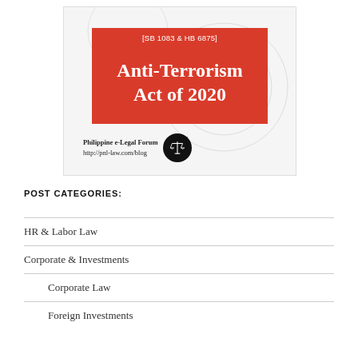[Figure (illustration): Graphic image for the Anti-Terrorism Act of 2020 (SB 1083 & HB 6875) from Philippine e-Legal Forum, showing a red speech bubble design with scales of justice icon and website URL http://pnl-law.com/blog]
POST CATEGORIES:
HR & Labor Law
Corporate & Investments
Corporate Law
Foreign Investments